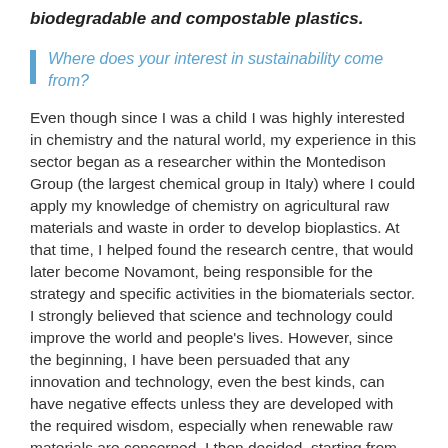biodegradable and compostable plastics.
Where does your interest in sustainability come from?
Even though since I was a child I was highly interested in chemistry and the natural world, my experience in this sector began as a researcher within the Montedison Group (the largest chemical group in Italy) where I could apply my knowledge of chemistry on agricultural raw materials and waste in order to develop bioplastics. At that time, I helped found the research centre, that would later become Novamont, being responsible for the strategy and specific activities in the biomaterials sector. I strongly believed that science and technology could improve the world and people's lives. However, since the beginning, I have been persuaded that any innovation and technology, even the best kinds, can have negative effects unless they are developed with the required wisdom, especially when renewable raw materials are concerned. I then decided, starting from bioplastics, to devote all my efforts to